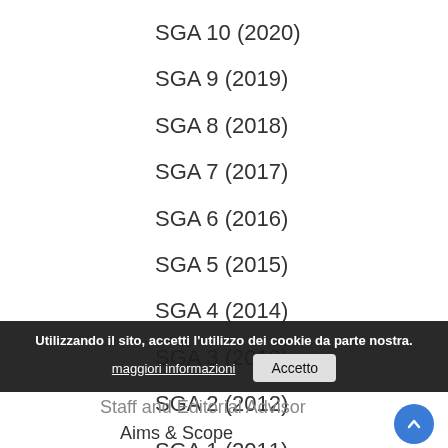SGA 10 (2020)
SGA 9 (2019)
SGA 8 (2018)
SGA 7 (2017)
SGA 6 (2016)
SGA 5 (2015)
SGA 4 (2014)
SGA 3 (2013)
SGA 2 (2012)
SGA 1 (2011)
Utilizzando il sito, accetti l'utilizzo dei cookie da parte nostra. maggiori informazioni  Accetto
Staff and Editorial Advisor
Aims & Scope